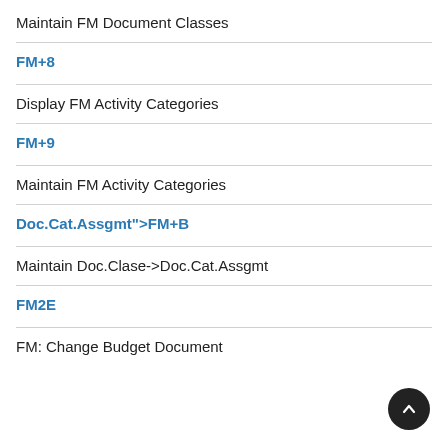Maintain FM Document Classes
FM+8
Display FM Activity Categories
FM+9
Maintain FM Activity Categories
Doc.Cat.Assgmt">FM+B
Maintain Doc.Clase->Doc.Cat.Assgmt
FM2E
FM: Change Budget Document